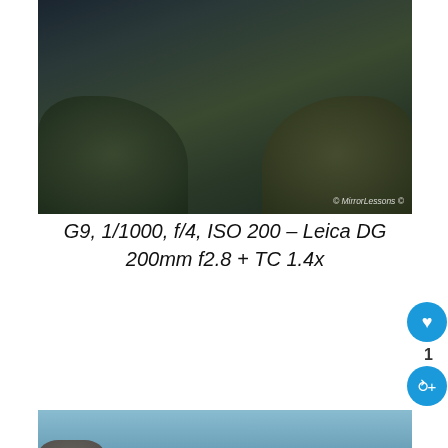[Figure (photo): A seal or sea mammal resting on rocky seaweed-covered coastal rocks, viewed from slightly above. Watermark reads '© MirrorLessons']
G9, 1/1000, f/4, ISO 200 – Leica DG 200mm f2.8 + TC 1.4x
[Figure (photo): A cat or small animal lying on green moss-covered rocks near water, with a 'WHAT'S NEXT' overlay showing 'Weekly News Round-up:...' and a PAWFECT MATCH advertisement banner at the bottom]